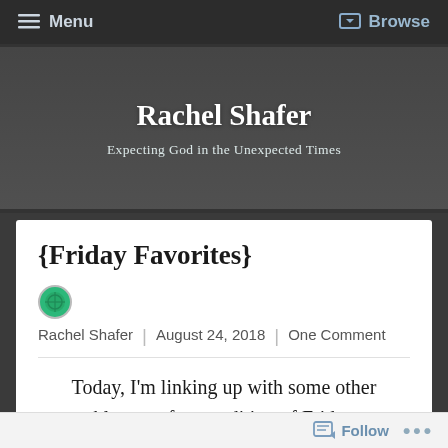Menu  Browse
Rachel Shafer
Expecting God in the Unexpected Times
{Friday Favorites}
Rachel Shafer | August 24, 2018 | One Comment
Today, I'm linking up with some other bloggers for an edition of Friday
Follow ...